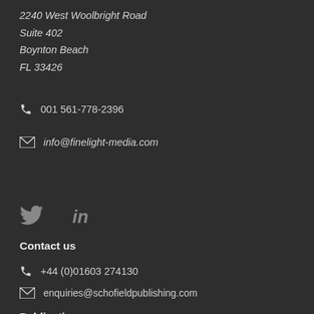2240 West Woolbright Road
Suite 402
Boynton Beach
FL 33426
001 561-778-2396
info@finelight-media.com
[Figure (illustration): Twitter bird icon and LinkedIn 'in' icon]
Contact us
+44 (0)01603 274130
enquiries@schofieldpublishing.com
Publications
Construction & Civil Engineering